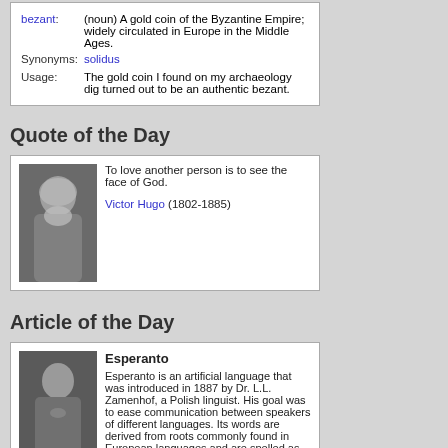| bezant: | (noun) A gold coin of the Byzantine Empire; widely circulated in Europe in the Middle Ages. |
| Synonyms: | solidus |
| Usage: | The gold coin I found on my archaeology dig turned out to be an authentic bezant. |
Quote of the Day
[Figure (photo): Black and white photograph of Victor Hugo, elderly man with white beard]
To love another person is to see the face of God.

Victor Hugo (1802-1885)
Article of the Day
[Figure (photo): Black and white photograph of Dr. L.L. Zamenhof]
Esperanto
Esperanto is an artificial language that was introduced in 1887 by Dr. L.L. Zamenhof, a Polish linguist. His goal was to ease communication between speakers of different languages. Its words are derived from roots commonly found in European languages and are spelled as pronounced. Grammar is simple and regular. Although no nation has officially adopted Esperanto, it has more than one million speakers...